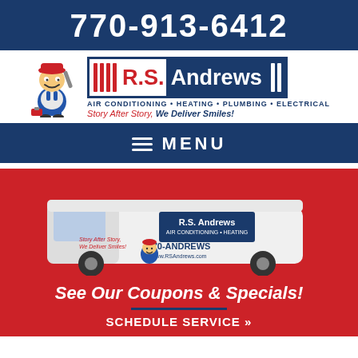770-913-6412
[Figure (logo): R.S. Andrews logo with mascot plumber character. Air Conditioning, Heating, Plumbing, Electrical. Story After Story, We Deliver Smiles!]
MENU
[Figure (photo): White R.S. Andrews service van on red background with mascot and text 770-ANDREWS www.RSAndrews.com]
See Our Coupons & Specials!
SCHEDULE SERVICE »